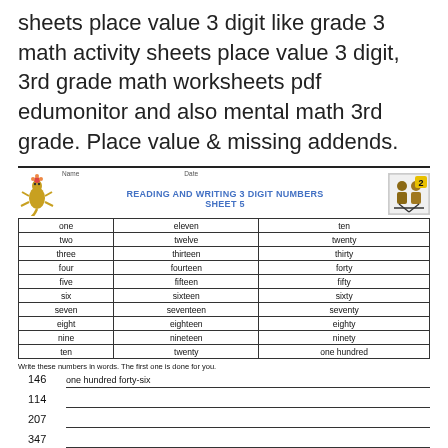sheets place value 3 digit like grade 3 math activity sheets place value 3 digit, 3rd grade math worksheets pdf edumonitor and also mental math 3rd grade. Place value & missing addends.
|  |  |  |
| --- | --- | --- |
| one | eleven | ten |
| two | twelve | twenty |
| three | thirteen | thirty |
| four | fourteen | forty |
| five | fifteen | fifty |
| six | sixteen | sixty |
| seven | seventeen | seventy |
| eight | eighteen | eighty |
| nine | nineteen | ninety |
| ten | twenty | one hundred |
READING AND WRITING 3 DIGIT NUMBERS SHEET 5
Write these numbers in words. The first one is done for you.
146   one hundred forty-six
114
207
347